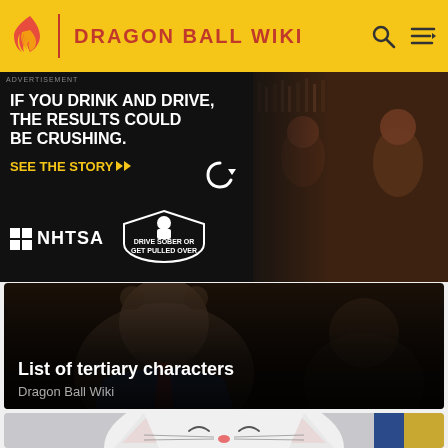DRAGON BALL WIKI
[Figure (screenshot): NHTSA advertisement: 'IF YOU DRINK AND DRIVE, THE RESULTS COULD BE CRUSHING. SEE THE STORY >> NHTSA DRIVE SOBER OR GET PULLED OVER' with photo of men at a bar]
[Figure (screenshot): Dragon Ball Wiki article preview card: 'List of tertiary characters' with anime character background]
[Figure (illustration): Anime white cat character from Dragon Ball, close-up face with pink nose and whisker marks]